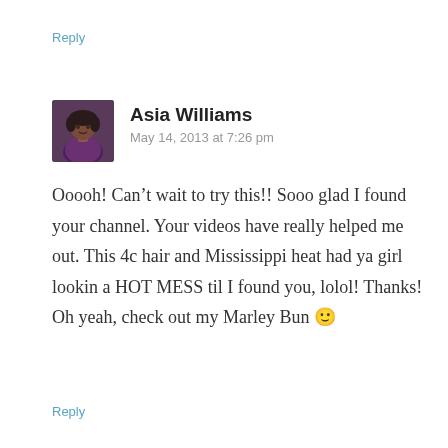Reply
[Figure (photo): Avatar photo of Asia Williams — a person in a purple top]
Asia Williams
May 14, 2013 at 7:26 pm
Ooooh! Can't wait to try this!! Sooo glad I found your channel. Your videos have really helped me out. This 4c hair and Mississippi heat had ya girl lookin a HOT MESS til I found you, lolol! Thanks! Oh yeah, check out my Marley Bun 🙂
Reply